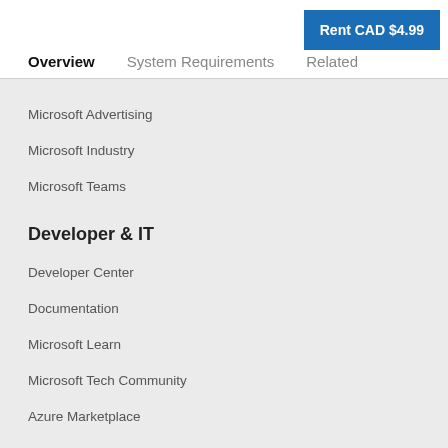Rent CAD $4.99
Overview
System Requirements
Related
Microsoft Advertising
Microsoft Industry
Microsoft Teams
Developer & IT
Developer Center
Documentation
Microsoft Learn
Microsoft Tech Community
Azure Marketplace
AppSource